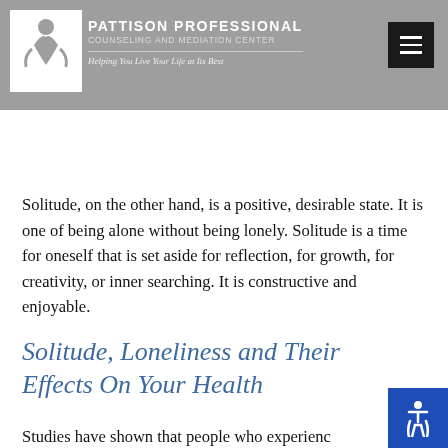PATTISON PROFESSIONAL COUNSELING AND MEDIATION CENTER — Helping You Live Your Life at Its Best
deficient, and filled with discontentment. Loneliness can involve disappointment and involve a sense of estrangement, a feeling of excess aloneness.
Solitude, on the other hand, is a positive, desirable state. It is one of being alone without being lonely. Solitude is a time for oneself that is set aside for reflection, for growth, for creativity, or inner searching. It is constructive and enjoyable.
Solitude, Loneliness and Their Effects On Your Health
Studies have shown that people who experience excessive loneliness are more prone to high levels...